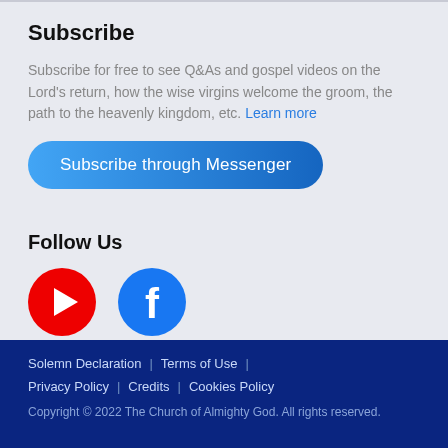Subscribe
Subscribe for free to see Q&As and gospel videos on the Lord's return, how the wise virgins welcome the groom, the path to the heavenly kingdom, etc. Learn more
[Figure (other): Blue rounded button labeled 'Subscribe through Messenger']
Follow Us
[Figure (other): YouTube icon (red circle with white play button) and Facebook icon (blue circle with white 'f' logo)]
Solemn Declaration | Terms of Use | Privacy Policy | Credits | Cookies Policy
Copyright © 2022 The Church of Almighty God. All rights reserved.